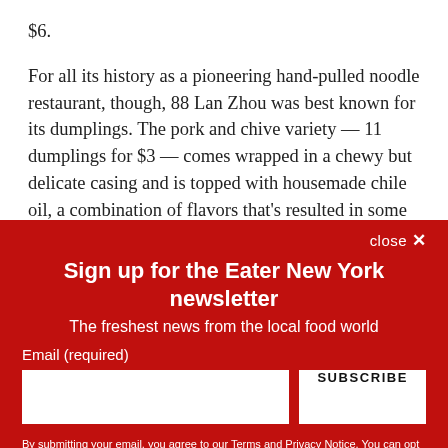$6.
For all its history as a pioneering hand-pulled noodle restaurant, though, 88 Lan Zhou was best known for its dumplings. The pork and chive variety — 11 dumplings for $3 — comes wrapped in a chewy but delicate casing and is topped with housemade chile oil, a combination of flavors that's resulted in some of the city's best dumplings. Frozen
close ✕
Sign up for the Eater New York newsletter
The freshest news from the local food world
Email (required)
SUBSCRIBE
By submitting your email, you agree to our Terms and Privacy Notice. You can opt out at any time. This site is protected by reCAPTCHA and the Google Privacy Policy and Terms of Service apply.